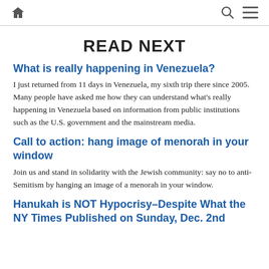Home | Search | Menu
READ NEXT
What is really happening in Venezuela?
I just returned from 11 days in Venezuela, my sixth trip there since 2005. Many people have asked me how they can understand what's really happening in Venezuela based on information from public institutions such as the U.S. government and the mainstream media.
Call to action: hang image of menorah in your window
Join us and stand in solidarity with the Jewish community: say no to anti-Semitism by hanging an image of a menorah in your window.
Hanukah is NOT Hypocrisy–Despite What the NY Times Published on Sunday, Dec. 2nd